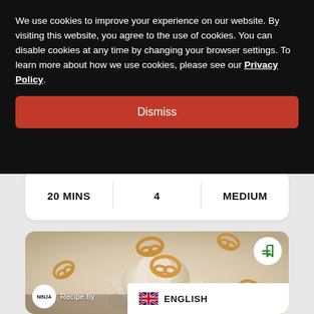We use cookies to improve your experience on our website. By visiting this website, you agree to the use of cookies. You can disable cookies at any time by changing your browser settings. To learn more about how we use cookies, please see our Privacy Policy.
Dismiss
| 20 MINS | 4 | MEDIUM |
| --- | --- | --- |
[Figure (photo): Top-down view of ice cream scoops in a glass bowl surrounded by pretzels, with a Ninja logo and 'Recipe by' text overlay, and a bookmark icon in the top right]
Recipe by
ENGLISH